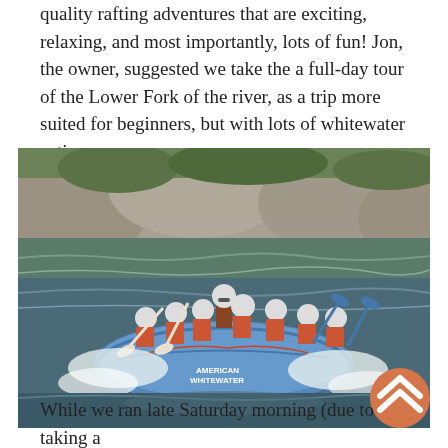quality rafting adventures that are exciting, relaxing, and most importantly, lots of fun! Jon, the owner, suggested we take the a full-day tour of the Lower Fork of the river, as a trip more suited for beginners, but with lots of whitewater action.
[Figure (photo): A group of people in orange life vests and white helmets paddling a blue inflatable raft labeled 'AMERICAN WHITEWATER' through rushing whitewater rapids with large rocks visible in the background.]
While we ran late Saturday morning (due to taking a